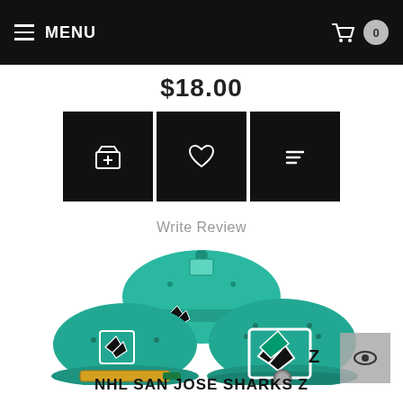MENU | 0
$18.00
[Figure (screenshot): Three black action buttons: shopping basket icon, heart/wishlist icon, and list/compare icon]
Write Review
[Figure (photo): NHL San Jose Sharks Z snapback cap in teal/green color shown from back and front angles, with Sharks logo embroidery]
NHL SAN JOSE SHARKS Z